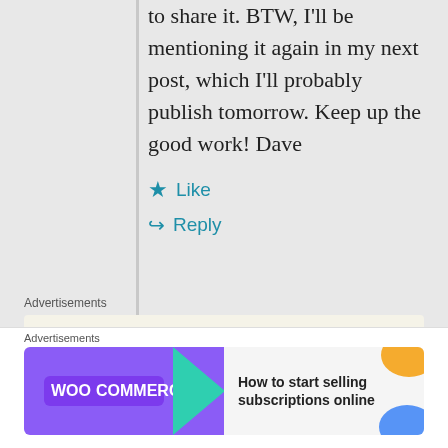to share it. BTW, I'll be mentioning it again in my next post, which I'll probably publish tomorrow. Keep up the good work! Dave
★ Like
↪ Reply
Advertisements
[Figure (other): WordPress advertisement: Professionally designed sites in less than a week]
REPORT THIS AD
Andrea Stephenson
Advertisements
[Figure (other): WooCommerce advertisement: How to start selling subscriptions online]